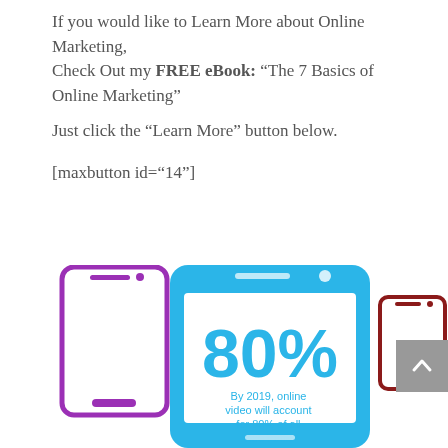If you would like to Learn More about Online Marketing,
Check Out my FREE eBook: “The 7 Basics of Online Marketing”

Just click the “Learn More” button below.

[maxbutton id=“14”]
[Figure (infographic): Three smartphone outlines in purple (left), blue (center, large), and dark red (right). The blue phone displays '80%' in large blue text and below it 'By 2019, online video will account for 80% of all web traffic.' in blue text.]